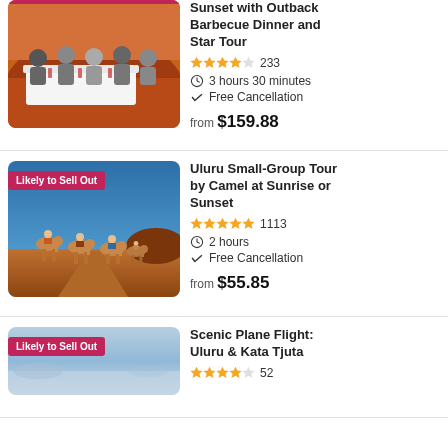[Figure (photo): People dining at outdoor table with Uluru rock formation in background at sunset]
Sunset with Outback Barbecue Dinner and Star Tour
4.5 stars, 233 reviews
3 hours 30 minutes
Free Cancellation
from $159.88
[Figure (photo): Camel train walking through Uluru desert landscape at sunrise or sunset, badge: Likely to Sell Out]
Uluru Small-Group Tour by Camel at Sunrise or Sunset
5 stars, 1113 reviews
2 hours
Free Cancellation
from $55.85
[Figure (photo): Scenic aerial or coastal view, badge: Likely to Sell Out]
Scenic Plane Flight: Uluru & Kata Tjuta
4.5 stars, 52 reviews